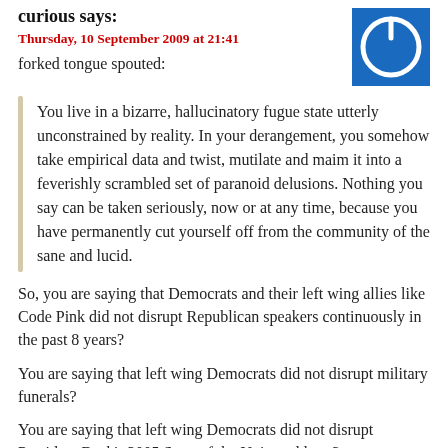curious says:
Thursday, 10 September 2009 at 21:41
forked tongue spouted:
You live in a bizarre, hallucinatory fugue state utterly unconstrained by reality. In your derangement, you somehow take empirical data and twist, mutilate and maim it into a feverishly scrambled set of paranoid delusions. Nothing you say can be taken seriously, now or at any time, because you have permanently cut yourself off from the community of the sane and lucid.
So, you are saying that Democrats and their left wing allies like Code Pink did not disrupt Republican speakers continuously in the past 8 years?
You are saying that left wing Democrats did not disrupt military funerals?
You are saying that left wing Democrats did not disrupt President Bush's 2005 State of the Union address?